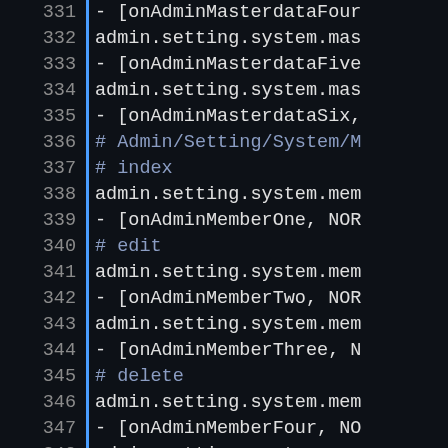Code listing lines 331-350, Ruby routes file showing admin masterdata and member routes
331  - [onAdminMasterdataFour...
332    admin.setting.system.mas...
333  - [onAdminMasterdataFive...
334    admin.setting.system.mas...
335  - [onAdminMasterdataSix,...
336  # Admin/Setting/System/M...
337  # index
338    admin.setting.system.mem...
339  - [onAdminMemberOne, NOR...
340  # edit
341    admin.setting.system.mem...
342  - [onAdminMemberTwo, NOR...
343    admin.setting.system.mem...
344  - [onAdminMemberThree, N...
345  # delete
346    admin.setting.system.mem...
347  - [onAdminMemberFour, NO...
348    admin.setting.system.mem...
349  - [onAdminMemberFive, NO...
350  # Block/SearchProductCon...